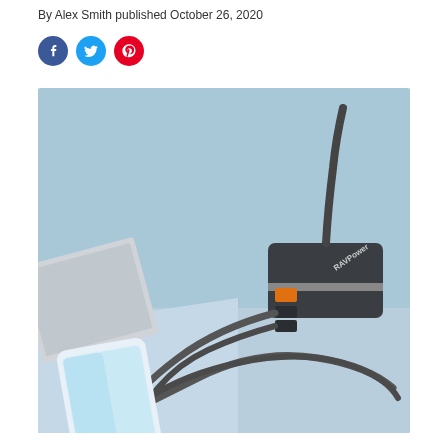By Alex Smith published October 26, 2020
[Figure (other): Three circular social media share icons: Facebook (blue), Twitter (light blue), Pinterest (red)]
[Figure (photo): Product photo of a RAVPower multi-port USB charger (dark grey/black block) connected to a smartphone and laptop via USB cables, set against a light blue background.]